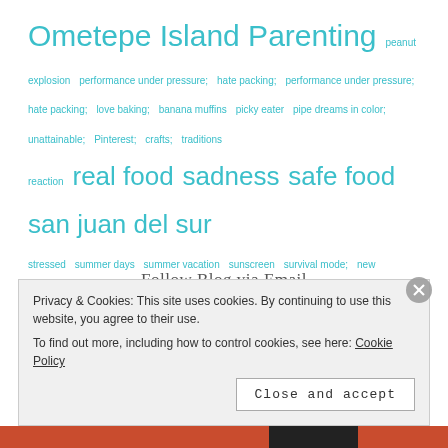Ometepe Island Parenting peanut explosion performance under pressure; hate packing; performance under pressure; hate packing; love baking; banana muffins picky eater pipe dreams in color; unattainable; Pinterest; crafts; traditions reaction real food sadness safe food san juan del sur stressed summer days summer vacation sunscreen survival mode; new business; blog more often swing set; helmets; head injury; protective gear; fall from swing set Thankful tomato plants travel to nicaragua treatment studies unidentified plants vegetable garden
- Follow Blog via Email -
Enter your email address to follow this blog and receive
Privacy & Cookies: This site uses cookies. By continuing to use this website, you agree to their use.
To find out more, including how to control cookies, see here: Cookie Policy
Close and accept